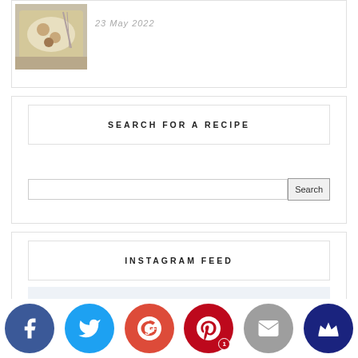[Figure (photo): Food photo showing a plated dish on a wooden board with a fork]
23 May 2022
SEARCH FOR A RECIPE
INSTAGRAM FEED
[Figure (screenshot): Instagram feed placeholder area (light blue-grey background)]
[Figure (infographic): Social media share bar with icons: Facebook, Twitter, Google+, Pinterest (with badge 1), Email, Crown]